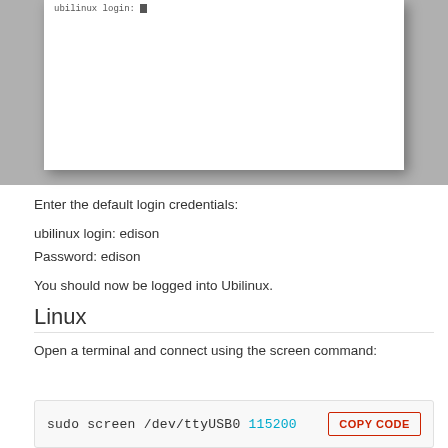[Figure (screenshot): Terminal screenshot showing ubilinux login prompt with cursor]
Enter the default login credentials:
ubilinux login: edison
Password: edison
You should now be logged into Ubilinux.
Linux
Open a terminal and connect using the screen command:
sudo screen /dev/ttyUSB0 115200  COPY CODE